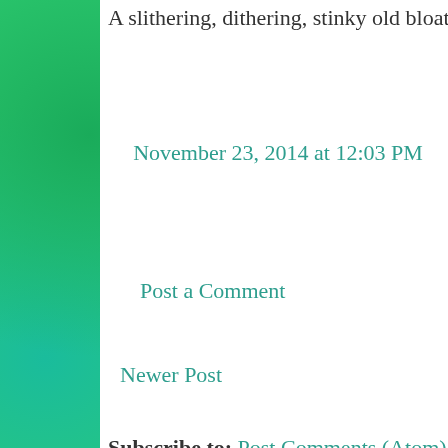A slithering, dithering, stinky old bloatus
November 23, 2014 at 12:03 PM
Post a Comment
Newer Post
Subscribe to: Post Comments (Atom)